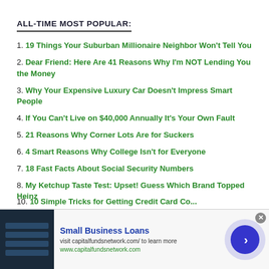ALL-TIME MOST POPULAR:
1. 19 Things Your Suburban Millionaire Neighbor Won't Tell You
2. Dear Friend: Here Are 41 Reasons Why I'm NOT Lending You the Money
3. Why Your Expensive Luxury Car Doesn't Impress Smart People
4. If You Can't Live on $40,000 Annually It's Your Own Fault
5. 21 Reasons Why Corner Lots Are for Suckers
6. 4 Smart Reasons Why College Isn't for Everyone
7. 18 Fast Facts About Social Security Numbers
8. My Ketchup Taste Test: Upset! Guess Which Brand Topped Heinz
9. Why I Prefer a Spreadsheet to Track Expenses and Manage My Finances
10. (partially visible)
[Figure (screenshot): Advertisement banner for Small Business Loans from capitalfundsnetwork.com with dark image, text, and blue arrow button]